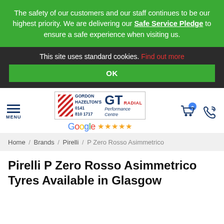The safety of our customers and our staff continues to be our highest priority. We are delivering our Safe Service Pledge to ensure a safe experience when visiting us.
This site uses standard cookies. Find out more
OK
[Figure (logo): Gordon Hazelton's GT Radial Performance Centre logo with Google 5 stars rating, hamburger menu, cart icon and phone icon]
Home / Brands / Pirelli / P Zero Rosso Asimmetrico
Pirelli P Zero Rosso Asimmetrico Tyres Available in Glasgow